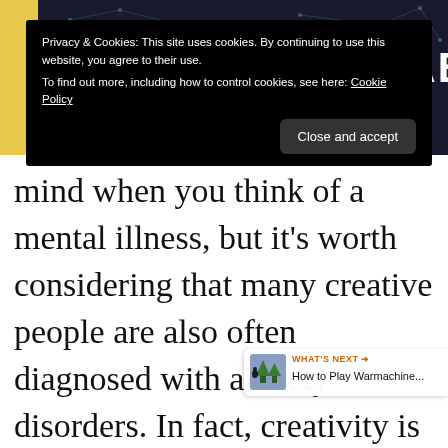[Figure (screenshot): Website banner with yellow background showing text 'NO ONE TALKS ABOUT' in large bold white letters with network/brain graphic]
Privacy & Cookies: This site uses cookies. By continuing to use this website, you agree to their use.
To find out more, including how to control cookies, see here: Cookie Policy
Close and accept
mind when you think of a mental illness, but it’s worth considering that many creative people are also often diagnosed with anxiety disorders. In fact, creativity is a common trait among those who suffer from anxiety disorders. Yet, it’s not known what causes this link or what to …
WHAT’S NEXT → How to Play Warmachine...